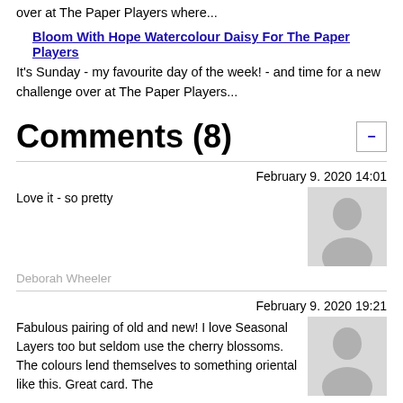over at The Paper Players where...
Bloom With Hope Watercolour Daisy For The Paper Players
It's Sunday - my favourite day of the week! - and time for a new challenge over at The Paper Players...
Comments (8)
February 9. 2020 14:01
Love it - so pretty
[Figure (illustration): Default user avatar placeholder - grey silhouette of a person]
Deborah Wheeler
February 9. 2020 19:21
Fabulous pairing of old and new! I love Seasonal Layers too but seldom use the cherry blossoms. The colours lend themselves to something oriental like this. Great card. The